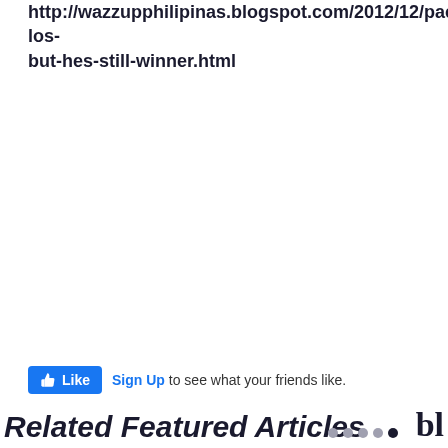http://wazzupphilipinas.blogspot.com/2012/12/pacquiao-los-but-hes-still-winner.html
[Figure (screenshot): Facebook Like widget showing a thumbs up Like button and 'Sign Up to see what your friends like.' text]
Related Featured Articles